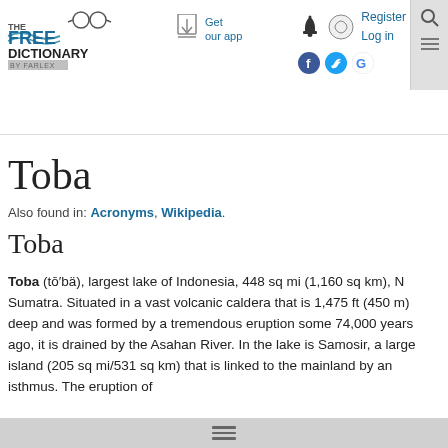[Figure (logo): The Free Dictionary by Farlex logo with glasses icon]
Toba
Also found in: Acronyms, Wikipedia.
Toba
Toba (tō′bä), largest lake of Indonesia, 448 sq mi (1,160 sq km), N Sumatra. Situated in a vast volcanic caldera that is 1,475 ft (450 m) deep and was formed by a tremendous eruption some 74,000 years ago, it is drained by the Asahan River. In the lake is Samosir, a large island (205 sq mi/531 sq km) that is linked to the mainland by an isthmus. The eruption of